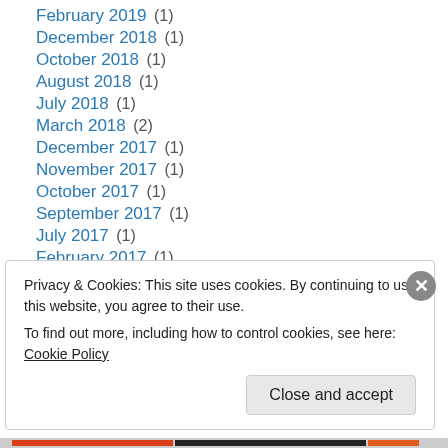February 2019 (1)
December 2018 (1)
October 2018 (1)
August 2018 (1)
July 2018 (1)
March 2018 (2)
December 2017 (1)
November 2017 (1)
October 2017 (1)
September 2017 (1)
July 2017 (1)
February 2017 (1)
October 2016 (1)
Privacy & Cookies: This site uses cookies. By continuing to use this website, you agree to their use. To find out more, including how to control cookies, see here: Cookie Policy
Close and accept